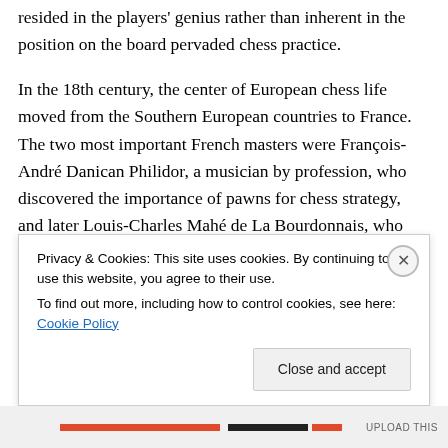resided in the players' genius rather than inherent in the position on the board pervaded chess practice.
In the 18th century, the center of European chess life moved from the Southern European countries to France. The two most important French masters were François-André Danican Philidor, a musician by profession, who discovered the importance of pawns for chess strategy, and later Louis-Charles Mahé de La Bourdonnais, who won a famous series of matches with the Irish master Alexander McDonnell in 1834. Centers of chess activity in this period were coffee houses in his European cities like
Privacy & Cookies: This site uses cookies. By continuing to use this website, you agree to their use.
To find out more, including how to control cookies, see here: Cookie Policy
Close and accept